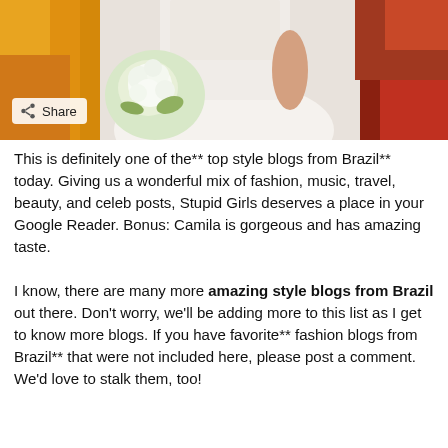[Figure (photo): Photo of a woman in a white lace wedding dress holding a white flower bouquet, with colorful background. A Share button is visible in the lower left of the photo.]
This is definitely one of the** top style blogs from Brazil** today. Giving us a wonderful mix of fashion, music, travel, beauty, and celeb posts, Stupid Girls deserves a place in your Google Reader. Bonus: Camila is gorgeous and has amazing taste.
I know, there are many more amazing style blogs from Brazil out there. Don't worry, we'll be adding more to this list as I get to know more blogs. If you have favorite** fashion blogs from Brazil** that were not included here, please post a comment. We'd love to stalk them, too!